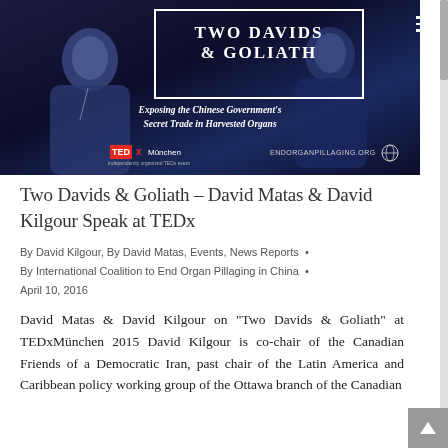[Figure (photo): Two Davids & Goliath event photo with title overlay. Two men on a dark stage. Text reads: 'TWO DAVIDS & GOLIATH — Exposing the Chinese Government's Secret Trade in Harvested Organs'. TEDx München and endorganpillaging.org logos shown.]
Two Davids & Goliath – David Matas & David Kilgour Speak at TEDx
By David Kilgour, By David Matas, Events, News Reports • By International Coalition to End Organ Pillaging in China • April 10, 2016
David Matas & David Kilgour on "Two Davids & Goliath" at TEDxMünchen 2015 David Kilgour is co-chair of the Canadian Friends of a Democratic Iran, past chair of the Latin America and Caribbean policy working group of the Ottawa branch of the Canadian